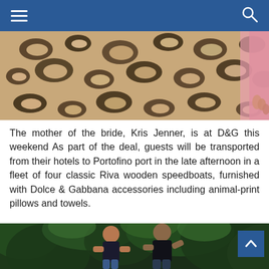Navigation header with hamburger menu and search icon
[Figure (photo): Close-up of leopard/animal print fabric in brown and black tones, with a glimpse of a pink garment on the right edge]
The mother of the bride, Kris Jenner, is at D&G this weekend As part of the deal, guests will be transported from their hotels to Portofino port in the late afternoon in a fleet of four classic Riva wooden speedboats, furnished with Dolce & Gabbana accessories including animal-print pillows and towels.
[Figure (photo): Two men dressed in black standing in front of dense tropical green foliage, both waving and clapping to an audience — appears to be Stefano Gabbana and Domenico Dolce at a fashion show bow]